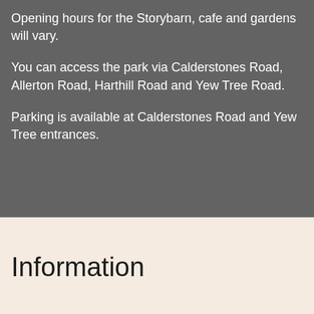Opening hours for the Storybarn, cafe and gardens will vary.
You can access the park via Calderstones Road, Allerton Road, Harthill Road and Yew Tree Road.
Parking is available at Calderstones Road and Yew Tree entrances.
Information